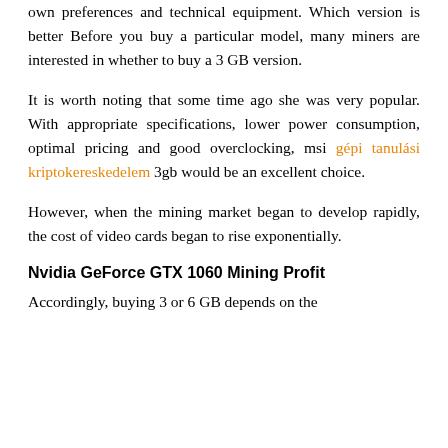own preferences and technical equipment. Which version is better Before you buy a particular model, many miners are interested in whether to buy a 3 GB version.
It is worth noting that some time ago she was very popular. With appropriate specifications, lower power consumption, optimal pricing and good overclocking, msi gépi tanulási kriptokereskedelem 3gb would be an excellent choice.
However, when the mining market began to develop rapidly, the cost of video cards began to rise exponentially.
Nvidia GeForce GTX 1060 Mining Profit
Accordingly, buying 3 or 6 GB depends on the